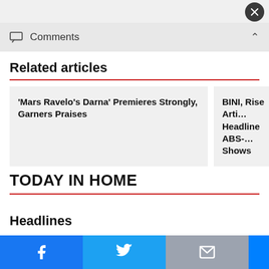[Figure (screenshot): Dark circular close/X button in top right corner]
Comments
Related articles
'Mars Ravelo’s Darna’ Premieres Strongly, Garners Praises
BINI, Rise Arti… Headline ABS-… Shows
TODAY IN HOME
Headlines
[Figure (screenshot): Social share bar with Facebook, Twitter, Mail, Messenger, More buttons and NEXT ARTICLE link]